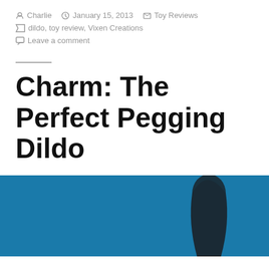Charlie   January 15, 2013   Toy Reviews
dildo, toy review, Vixen Creations
Leave a comment
Charm: The Perfect Pegging Dildo
[Figure (photo): Photo of a dark-colored dildo on a teal/blue background]